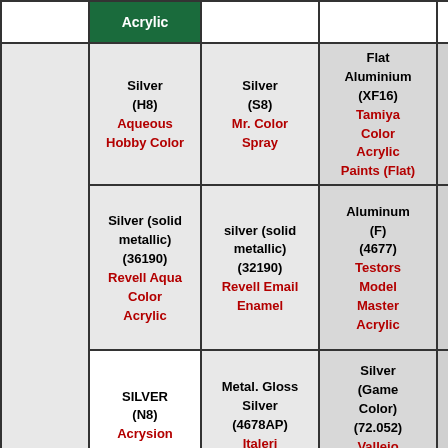|  | Acrylic |  |  |  |
| --- | --- | --- | --- | --- |
|  | Silver (H8)
Aqueous Hobby Color | Silver (S8)
Mr. Color Spray | Flat Aluminium (XF16)
Tamiya Color Acrylic Paints (Flat) |  |
|  | Silver (solid metallic) (36190)
Revell Aqua Color Acrylic | silver (solid metallic) (32190)
Revell Email Enamel | Aluminum (F) (4677)
Testors Model Master Acrylic |  |
|  | SILVER (N8)
Acrysion | Metal. Gloss Silver (4678AP)
Italeri | Silver (Game Color) (72.052)
Vallejo Game Color |  |